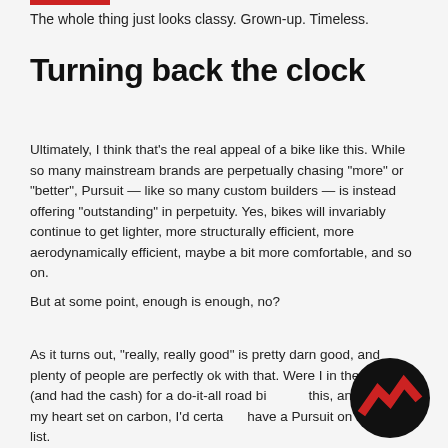The whole thing just looks classy. Grown-up. Timeless.
Turning back the clock
Ultimately, I think that’s the real appeal of a bike like this. While so many mainstream brands are perpetually chasing “more” or “better”, Pursuit — like so many custom builders — is instead offering “outstanding” in perpetuity. Yes, bikes will invariably continue to get lighter, more structurally efficient, more aerodynamically efficient, maybe a bit more comfortable, and so on.
But at some point, enough is enough, no?
As it turns out, “really, really good” is pretty darn good, and plenty of people are perfectly ok with that. Were I in the market (and had the cash) for a do-it-all road bike this, and also had my heart set on carbon, I’d certainly have a Pursuit on my short list.
[Figure (logo): Black circular logo with red zigzag/mountain chevron design]